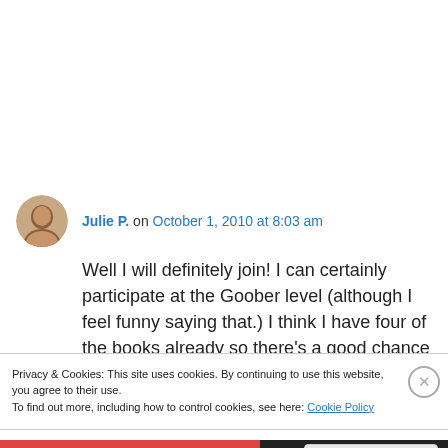Julie P. on October 1, 2010 at 8:03 am
Well I will definitely join! I can certainly participate at the Goober level (although I feel funny saying that.) I think I have four of the books already so there’s a good chance I might move up a level but it’s better to be safe than sorry
Privacy & Cookies: This site uses cookies. By continuing to use this website, you agree to their use. To find out more, including how to control cookies, see here: Cookie Policy
Close and accept